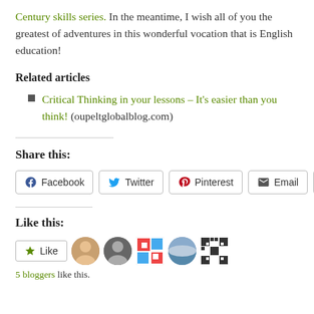Century skills series. In the meantime, I wish all of you the greatest of adventures in this wonderful vocation that is English education!
Related articles
Critical Thinking in your lessons – It's easier than you think! (oupeltglobalblog.com)
Share this:
Facebook | Twitter | Pinterest | Email | More
Like this:
5 bloggers like this.